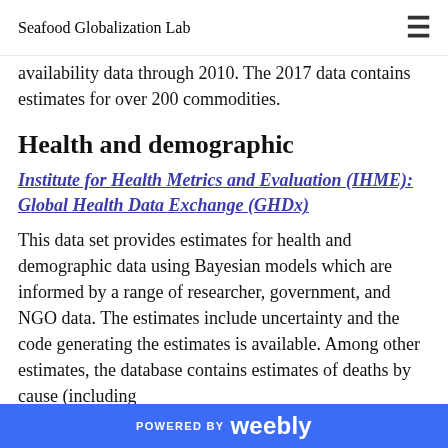Seafood Globalization Lab
availability data through 2010. The 2017 data contains estimates for over 200 commodities.
Health and demographic
Institute for Health Metrics and Evaluation (IHME): Global Health Data Exchange (GHDx)
This data set provides estimates for health and demographic data using Bayesian models which are informed by a range of researcher, government, and NGO data. The estimates include uncertainty and the code generating the estimates is available. Among other estimates, the database contains estimates of deaths by cause (including
POWERED BY weebly